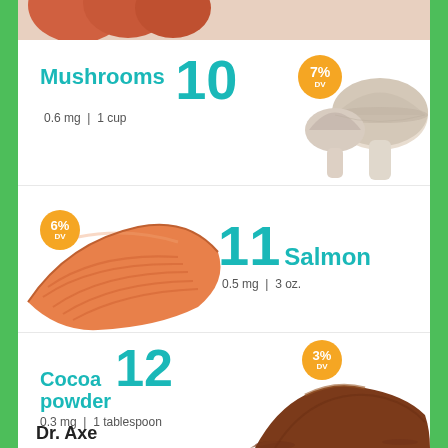[Figure (infographic): Food items with nutrition number rankings showing Mushrooms (#10, 7% DV, 0.6 mg per 1 cup), Salmon (#11, 6% DV, 0.5 mg per 3 oz), and Cocoa powder (#12, 3% DV, 0.3 mg per 1 tablespoon), each with a food photo and orange percentage badge]
Mushrooms 10 0.6 mg | 1 cup 7% DV
11 Salmon 0.5 mg | 3 oz. 6% DV
Cocoa powder 12 0.3 mg | 1 tablespoon 3% DV
Dr. Axe